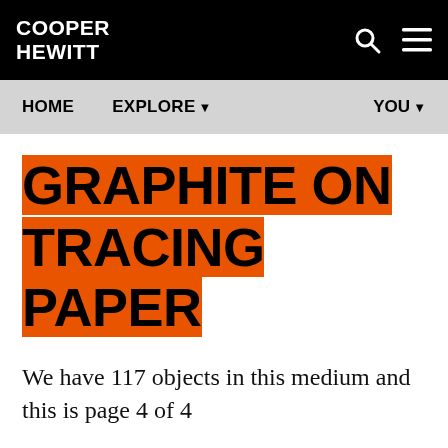COOPER HEWITT
HOME   EXPLORE   YOU
GRAPHITE ON TRACING PAPER
We have 117 objects in this medium and this is page 4 of 4
We also have media similar to graphite on tracing paper, such as graphite in tracing...